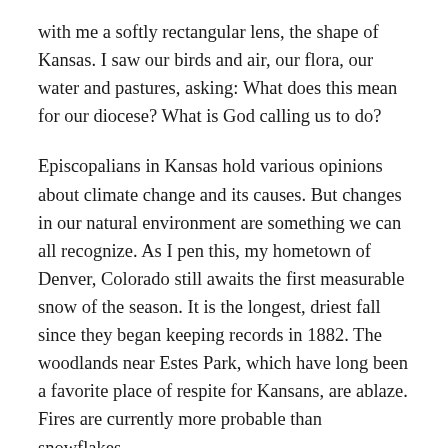with me a softly rectangular lens, the shape of Kansas. I saw our birds and air, our flora, our water and pastures, asking: What does this mean for our diocese? What is God calling us to do?
Episcopalians in Kansas hold various opinions about climate change and its causes. But changes in our natural environment are something we can all recognize. As I pen this, my hometown of Denver, Colorado still awaits the first measurable snow of the season. It is the longest, driest fall since they began keeping records in 1882. The woodlands near Estes Park, which have long been a favorite place of respite for Kansans, are ablaze. Fires are currently more probable than snowflakes.